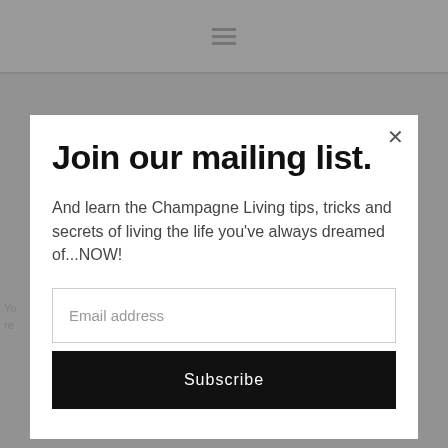≡
Yo... re...
Join our mailing list.
And learn the Champagne Living tips, tricks and secrets of living the life you've always dreamed of...NOW!
Email address
Subscribe
DINE OUT   ESCAPE   NEW YORK   TASTE
7 OF MY FAVORITE